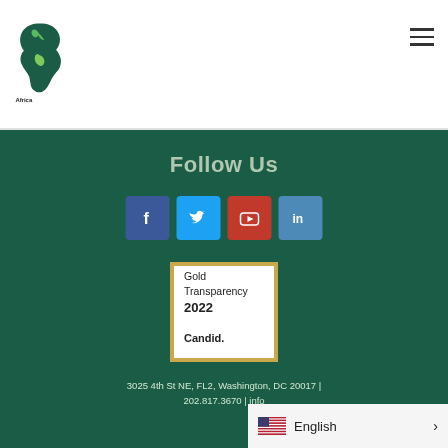[Figure (logo): Africa Faith & Justice Network logo — green Africa continent silhouette with a bird, text 'Africa Faith & Justice Network' below]
Follow Us
[Figure (infographic): Row of four social media icon buttons: Facebook (blue), Twitter (light blue), YouTube (red), LinkedIn (blue)]
[Figure (other): Gold Transparency 2022 Candid. badge — white background with gold border]
3025 4th St NE, FL2, Washington, DC 20017 | 202.817.3670 | info…